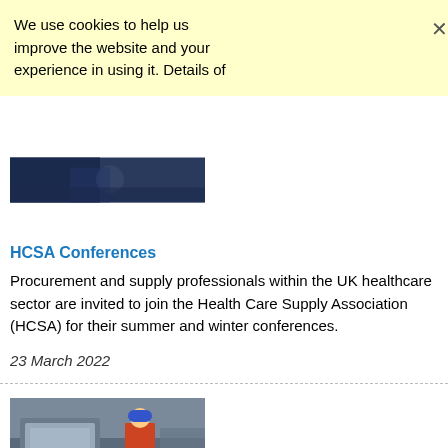We use cookies to help us improve the website and your experience in using it. Details of
[Figure (photo): Photo of a person, partially visible, dark background]
HCSA Conferences
Procurement and supply professionals within the UK healthcare sector are invited to join the Health Care Supply Association (HCSA) for their summer and winter conferences.
23 March 2022
[Figure (photo): Photo of a worker in a hard hat working on industrial equipment]
Estates - Looking to spend a year-end surplus?
NHS Procurement in Partnership (NHS PiP) has some recommenda